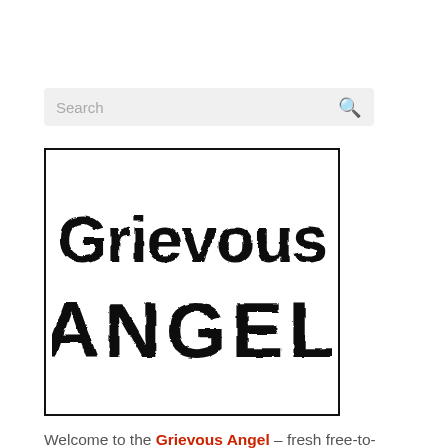Search
[Figure (logo): Grievous Angel logo with distressed/grunge text styling. Top line reads 'Grievous' in large serif-like bold font, bottom line reads 'ANGEL' in even larger bold block capitals, all in black with a worn/stamp effect, inside a black border rectangle.]
Welcome to the Grievous Angel – fresh free-to-read science fiction and fantasy